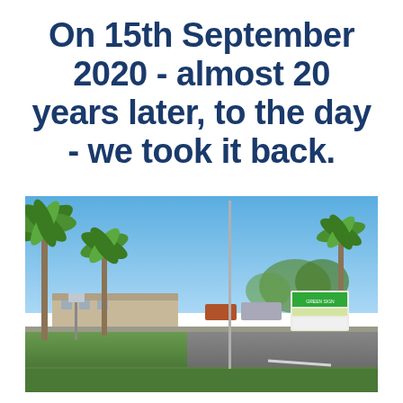On 15th September 2020 - almost 20 years later, to the day - we took it back.
[Figure (photo): Outdoor street-level photo showing a road with palm trees, a green lawn, buildings in the background, a tall pole, and a green billboard sign. Blue sky with scattered clouds.]